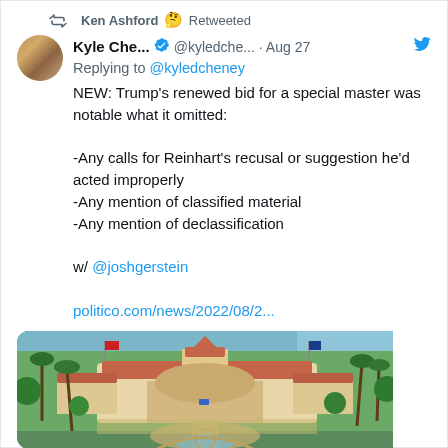Ken Ashford 🤔 Retweeted
Kyle Che... @kyledche... · Aug 27
Replying to @kyledcheney
NEW: Trump's renewed bid for a special master was notable what it omitted:

-Any calls for Reinhart's recusal or suggestion he'd acted improperly
-Any mention of classified material
-Any mention of declassification

w/ @joshgerstein

politico.com/news/2022/08/2...
[Figure (photo): Aerial photograph of Mar-a-Lago estate in Palm Beach, Florida, showing the main building with red-tiled roofs, surrounded by palm trees and green lawns, with water visible in the background.]